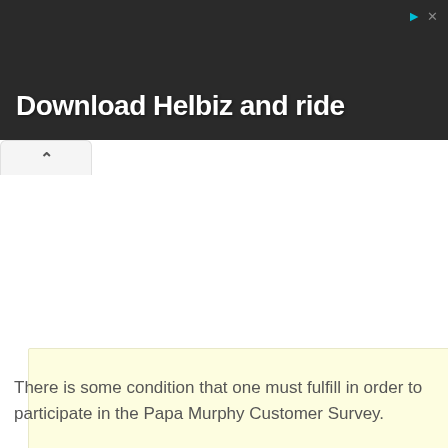[Figure (photo): Advertisement banner for Helbiz app showing a person with camera equipment in a city street background. Text reads 'Download Helbiz and ride']
[Figure (other): Yellow advertisement placeholder rectangle]
There is some condition that one must fulfill in order to participate in the Papa Murphy Customer Survey.
Your age has to be an 18 years old or older compared to it in the time of accepting the poll.
There are some...